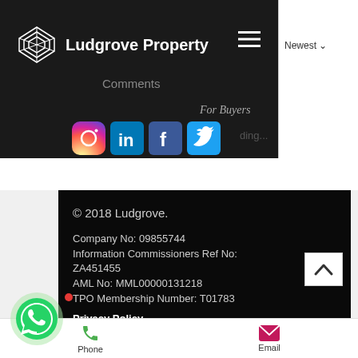[Figure (screenshot): Ludgrove Property website header with logo, brand name, hamburger menu, Comments label, For Buyers subtitle, social media icons (Instagram, LinkedIn, Facebook, Twitter), loading text, and a Newest dropdown on the right panel.]
[Figure (screenshot): Website footer section on dark background with copyright, company registration numbers, and Privacy Policy link. Includes scroll-to-top button and bottom navigation bar with Phone and Email options, and a WhatsApp floating button.]
© 2018 Ludgrove.
Company No: 09855744
Information Commissioners Ref No: ZA451455
AML No: MML00000131218
TPO Membership Number: T01783
Privacy Policy